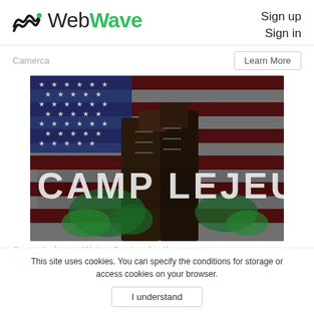[Figure (logo): WebWave logo with wave icon in black and green bold text]
Sign up
Sign in
Camerca
Learn More
[Figure (photo): Camp Lejeune image showing military boots and American flag background with large white text 'CAMP LEJEU' and green paint splash]
Camp Lejeune Water Contamination Claims
Trulaw
This site uses cookies. You can specify the conditions for storage or access cookies on your browser.
I understand